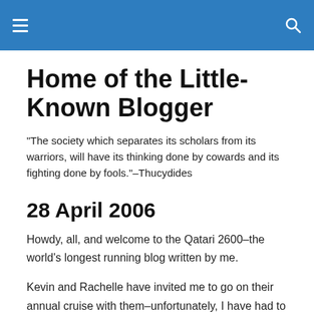Home of the Little-Known Blogger — navigation bar
Home of the Little-Known Blogger
"The society which separates its scholars from its warriors, will have its thinking done by cowards and its fighting done by fools."–Thucydides
28 April 2006
Howdy, all, and welcome to the Qatari 2600–the world's longest running blog written by me.
Kevin and Rachelle have invited me to go on their annual cruise with them–unfortunately, I have had to decline. I will be enrolling for the next session of on-line classes at